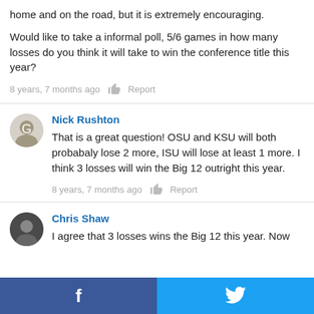home and on the road, but it is extremely encouraging.
Would like to take a informal poll, 5/6 games in how many losses do you think it will take to win the conference title this year?
8 years, 7 months ago  [thumb] Report
Nick Rushton
That is a great question! OSU and KSU will both probabaly lose 2 more, ISU will lose at least 1 more. I think 3 losses will win the Big 12 outright this year.
8 years, 7 months ago  [thumb] Report
Chris Shaw
I agree that 3 losses wins the Big 12 this year. Now